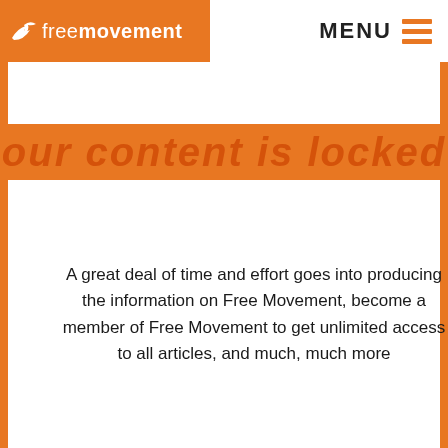freemovement | MENU
Our content is locked
A great deal of time and effort goes into producing the information on Free Movement, become a member of Free Movement to get unlimited access to all articles, and much, much more
UNLOCK ACCESS
This website uses limited cookies to ensure you get the best experience on our website. Learn more
[Figure (screenshot): Screenshot of the Free Movement Members Hub page showing the website interface with navigation and Members Hub heading]